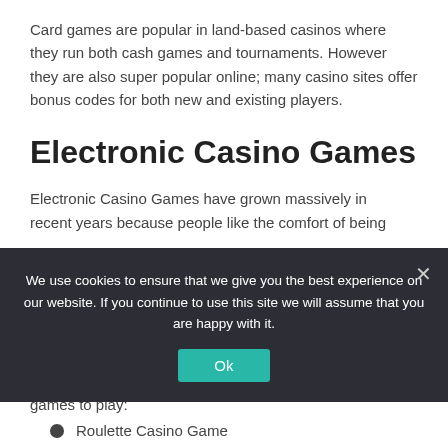Card games are popular in land-based casinos where they run both cash games and tournaments. However they are also super popular online; many casino sites offer bonus codes for both new and existing players.
Electronic Casino Games
Electronic Casino Games have grown massively in recent years because people like the comfort of being
[Figure (screenshot): Cookie consent banner overlay with dark background (#2d2d35), text reading 'We use cookies to ensure that we give you the best experience on our website. If you continue to use this site we will assume that you are happy with it.' with a teal 'Ok' button and a close X button.]
games to play:
Roulette Casino Game
Video Slots Games